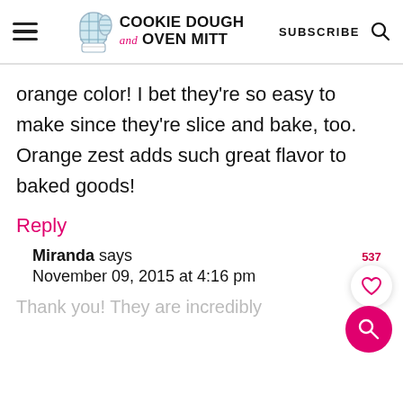Cookie Dough and Oven Mitt — SUBSCRIBE
orange color! I bet they're so easy to make since they're slice and bake, too. Orange zest adds such great flavor to baked goods!
Reply
Miranda says
November 09, 2015 at 4:16 pm
Thank you! They are incredibly